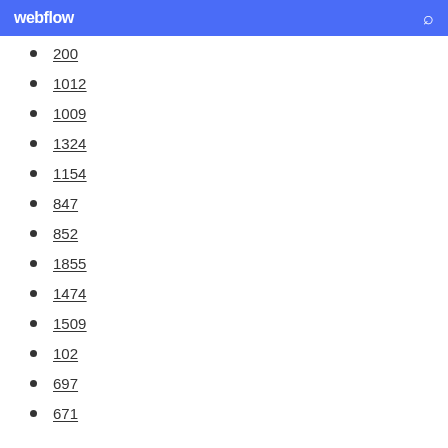webflow
200
1012
1009
1324
1154
847
852
1855
1474
1509
102
697
671